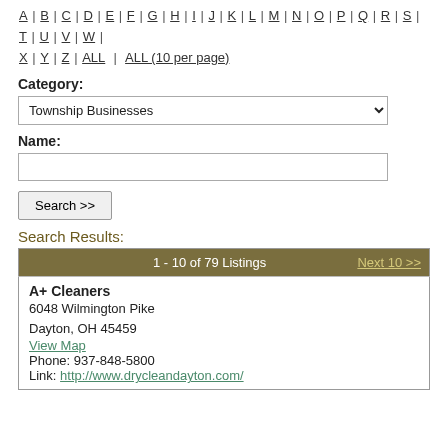A | B | C | D | E | F | G | H | I | J | K | L | M | N | O | P | Q | R | S | T | U | V | W | X | Y | Z | ALL | ALL (10 per page)
Category:
Township Businesses
Name:
Search >>
Search Results:
|  | 1 - 10 of 79 Listings | Next 10 >> |
| --- | --- | --- |
| A+ Cleaners
6048 Wilmington Pike
Dayton, OH 45459
View Map
Phone: 937-848-5800
Link: http://www.drycleandayton.com/ |
A+ Cleaners
6048 Wilmington Pike
Dayton, OH 45459
View Map
Phone: 937-848-5800
Link: http://www.drycleandayton.com/